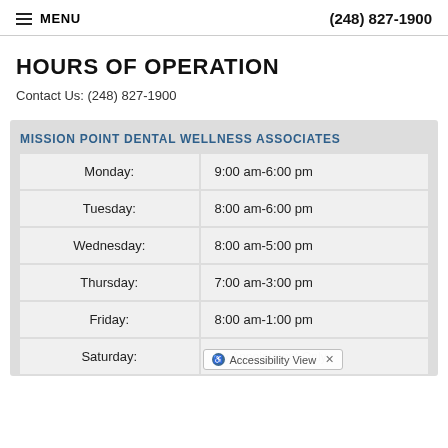MENU | (248) 827-1900
HOURS OF OPERATION
Contact Us: (248) 827-1900
MISSION POINT DENTAL WELLNESS ASSOCIATES
| Day | Hours |
| --- | --- |
| Monday: | 9:00 am-6:00 pm |
| Tuesday: | 8:00 am-6:00 pm |
| Wednesday: | 8:00 am-5:00 pm |
| Thursday: | 7:00 am-3:00 pm |
| Friday: | 8:00 am-1:00 pm |
| Saturday: | By Appointment Only |